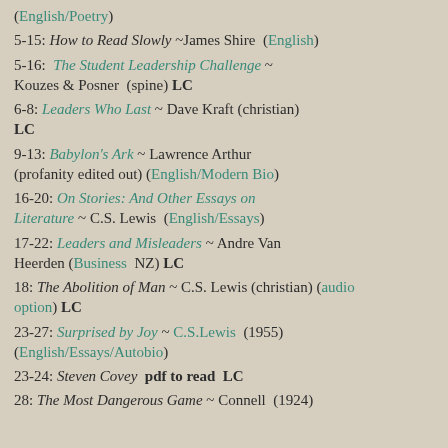(English/Poetry)
5-15: How to Read Slowly ~James Shire (English)
5-16: The Student Leadership Challenge ~ Kouzes & Posner (spine) LC
6-8: Leaders Who Last ~ Dave Kraft (christian) LC
9-13: Babylon's Ark ~ Lawrence Arthur (profanity edited out) (English/Modern Bio)
16-20: On Stories: And Other Essays on Literature ~ C.S. Lewis (English/Essays)
17-22: Leaders and Misleaders ~ Andre Van Heerden (Business NZ) LC
18: The Abolition of Man ~ C.S. Lewis (christian) (audio option) LC
23-27: Surprised by Joy ~ C.S.Lewis (1955) (English/Essays/Autobio)
23-24: Steven Covey pdf to read LC
28: The Most Dangerous Game ~ Connell (1924)